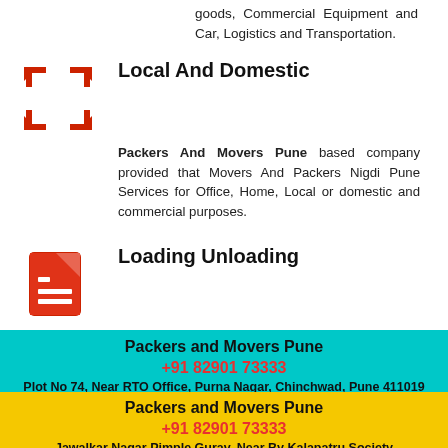goods, Commercial Equipment and Car, Logistics and Transportation.
Local And Domestic
Packers And Movers Pune based company provided that Movers And Packers Nigdi Pune Services for Office, Home, Local or domestic and commercial purposes.
Loading Unloading
In loading and unloading is done carefully by experienced workers. In addition, #PackersMoversPune unpacks the delivery at the target, very efficiently & with maximum care.
Relocation Services
in Nigdi company relocation and home Shifting services association provided that relocation solutions to individuals and company houses.
Packers and Movers Pune
+91 82901 73333
Plot No 74, Near RTO Office, Purna Nagar, Chinchwad, Pune 411019
Packers and Movers Pune
+91 82901 73333
Jawalkar Nagar Pimple Gurav, Near By Kalapatru Society